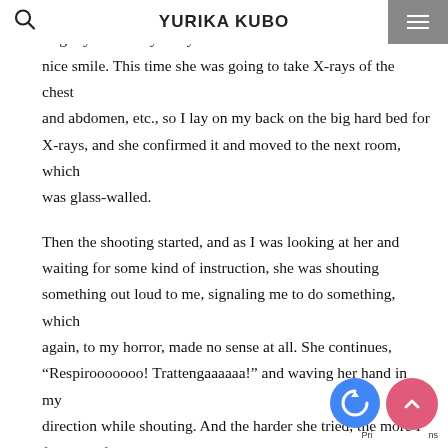YURIKA KUBO
corridor I had seen earlier, the inside of the x-ray room was brightly lit and my x-ray technician was a woman with a very nice smile. This time she was going to take X-rays of the chest and abdomen, etc., so I lay on my back on the big hard bed for X-rays, and she confirmed it and moved to the next room, which was glass-walled.

Then the shooting started, and as I was looking at her and waiting for some kind of instruction, she was shouting something out loud to me, signaling me to do something, which again, to my horror, made no sense at all. She continues, “Respirooooooo! Trattengaaaaaa!” and waving her hand in my direction while shouting. And the harder she tried, the more I felt sorry for her, which I couldn’t understand in the slightest, so I tilted my eyebrows in a figure-eight motion. When she saw my expression, which was so obvious, she didn’t get angry, but instead laughed hysterically, and the gesture game began in the x-ray room, this time using gestures in response to what she just said.